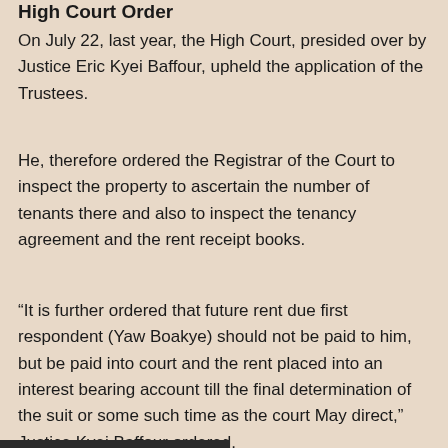High Court Order
On July 22, last year, the High Court, presided over by Justice Eric Kyei Baffour, upheld the application of the Trustees.
He, therefore ordered the Registrar of the Court to inspect the property to ascertain the number of tenants there and also to inspect the tenancy agreement and the rent receipt books.
“It is further ordered that future rent due first respondent (Yaw Boakye) should not be paid to him, but be paid into court and the rent placed into an interest bearing account till the final determination of the suit or some such time as the court May direct,” Justice Kyei Baffour ordered.